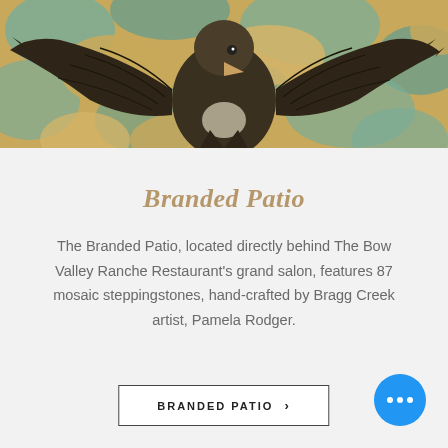[Figure (illustration): Decorative illustration of a large bird (eagle) with spread wings against a textured teal and golden-yellow mosaic background, cropped at top]
Branded Patio
The Branded Patio, located directly behind The Bow Valley Ranche Restaurant's grand salon, features 87 mosaic steppingstones, hand-crafted by Bragg Creek artist, Pamela Rodger.
BRANDED PATIO ›